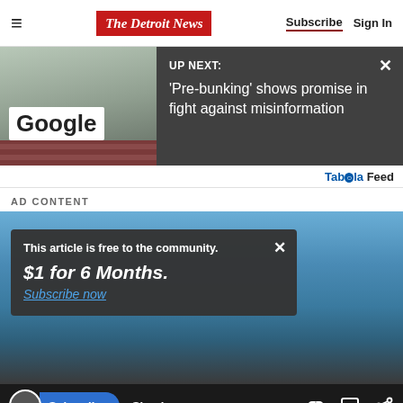The Detroit News | Subscribe | Sign In
[Figure (screenshot): Up Next banner with Google building photo on the left and dark overlay with headline: UP NEXT: 'Pre-bunking' shows promise in fight against misinformation]
Taboola Feed
AD CONTENT
[Figure (photo): Military/outdoor scene with soldier in camouflage near water under blue sky]
This article is free to the community. $1 for 6 Months. Subscribe now
Subscribe | Sign in